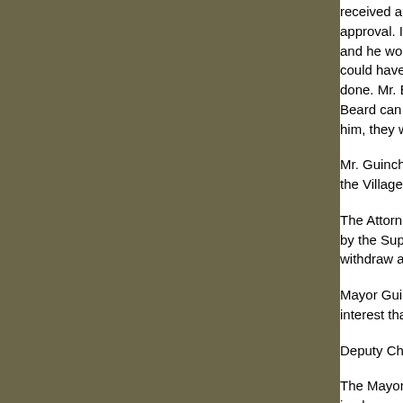received an approval.  At this point, the BAR doe approval.  If they were to try and do so, Mr. Bear and he would likely win such a suit!  Any residen could have at any time pursued an Article 78 aga done.  Mr. Beard has rights. At this point, the BA Beard can install the lights, because he can.  If t him, they will be sued, successfully.
Mr. Guinchard inquired as to whether or not Mr. B the Village had not followed the process correctly
The Attorney advised him that if he wished he co by the Supreme Court in Goshen.  He reiterated withdraw an approval that had already been gra
Mayor Guinchard wondered whether the BAR ha interest that might exist with the applicant.
Deputy Chair Simon responded that he felt this w
The Mayor responded that she disagreed and fe in place requiring conflicts of interest be identifie Board of Trustees always clearly identified any s when necessary and wondered whether or not th
Chair Tocci wondered what this had to do with th